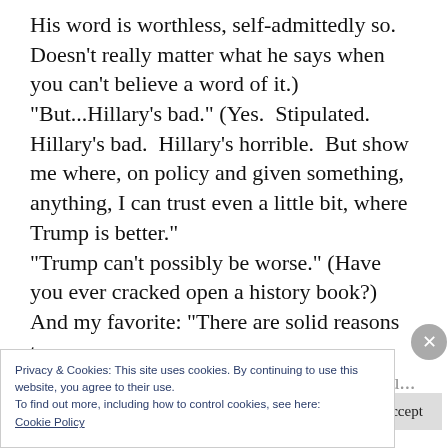His word is worthless, self-admittedly so. Doesn't really matter what he says when you can't believe a word of it.) “But...Hillary's bad.” (Yes. Stipulated. Hillary's bad. Hillary's horrible. But show me where, on policy and given something, anything, I can trust even a little bit, where Trump is better.” “Trump can’t possibly be worse.” (Have you ever cracked open a history book?) And my favorite: “There are solid reasons to
Privacy & Cookies: This site uses cookies. By continuing to use this website, you agree to their use. To find out more, including how to control cookies, see here: Cookie Policy
Close and accept